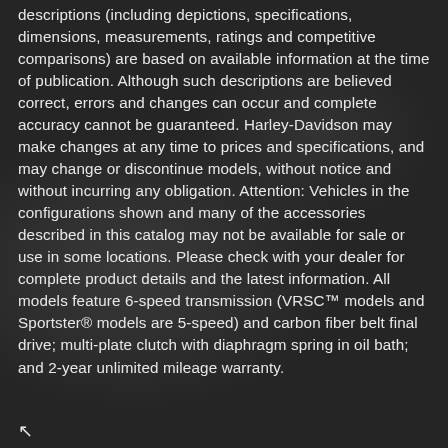descriptions (including depictions, specifications, dimensions, measurements, ratings and competitive comparisons) are based on available information at the time of publication. Although such descriptions are believed correct, errors and changes can occur and complete accuracy cannot be guaranteed. Harley-Davidson may make changes at any time to prices and specifications, and may change or discontinue models, without notice and without incurring any obligation. Attention: Vehicles in the configurations shown and many of the accessories described in this catalog may not be available for sale or use in some locations. Please check with your dealer for complete product details and the latest information. All models feature 6-speed transmission (VRSC™ models and Sportster® models are 5-speed) and carbon fiber belt final drive; multi-plate clutch with diaphragm spring in oil bath; and 2-year unlimited mileage warranty.